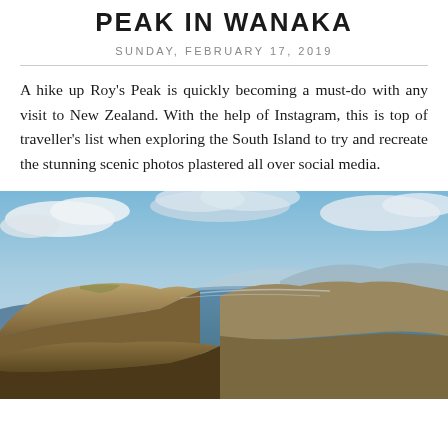THE ULTIMATE SUNRISE HIKE: ROY'S PEAK IN WANAKA
SUNDAY, FEBRUARY 17, 2019
A hike up Roy's Peak is quickly becoming a must-do with any visit to New Zealand. With the help of Instagram, this is top of traveller's list when exploring the South Island to try and recreate the stunning scenic photos plastered all over social media.
[Figure (photo): Aerial panoramic view from Roy's Peak in Wanaka, New Zealand, showing rugged mountain ridges, Lake Wanaka, and a dramatic cloud-filled blue sky]